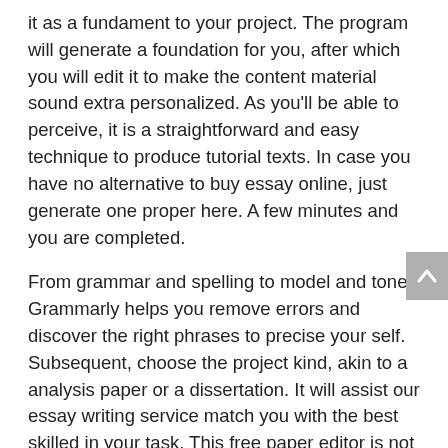it as a fundament to your project. The program will generate a foundation for you, after which you will edit it to make the content material sound extra personalized. As you'll be able to perceive, it is a straightforward and easy technique to produce tutorial texts. In case you have no alternative to buy essay online, just generate one proper here. A few minutes and you are completed.
From grammar and spelling to model and tone, Grammarly helps you remove errors and discover the right phrases to precise your self. Subsequent, choose the project kind, akin to a analysis paper or a dissertation. It will assist our essay writing service match you with the best skilled in your task. This free paper editor is not going to solely aid you find the mistakes but also repair them. You are welcome to review an in depth report with clear options on methods to make your textual content better. This can